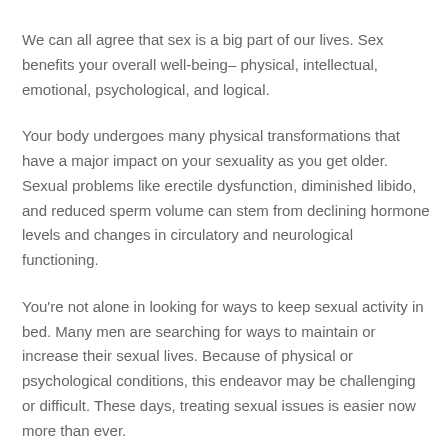We can all agree that sex is a big part of our lives. Sex benefits your overall well-being– physical, intellectual, emotional, psychological, and logical.
Your body undergoes many physical transformations that have a major impact on your sexuality as you get older. Sexual problems like erectile dysfunction, diminished libido, and reduced sperm volume can stem from declining hormone levels and changes in circulatory and neurological functioning.
You're not alone in looking for ways to keep sexual activity in bed. Many men are searching for ways to maintain or increase their sexual lives. Because of physical or psychological conditions, this endeavor may be challenging or difficult. These days, treating sexual issues is easier now more than ever.
For some of your bodily needs, we recommend Semenax.